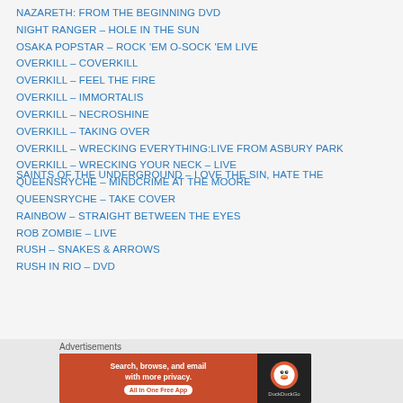NAZARETH: FROM THE BEGINNING DVD
NIGHT RANGER – HOLE IN THE SUN
OSAKA POPSTAR – ROCK 'EM O-SOCK 'EM LIVE
OVERKILL – COVERKILL
OVERKILL – FEEL THE FIRE
OVERKILL – IMMORTALIS
OVERKILL – NECROSHINE
OVERKILL – TAKING OVER
OVERKILL – WRECKING EVERYTHING:LIVE FROM ASBURY PARK
OVERKILL – WRECKING YOUR NECK – LIVE
QUEENSRYCHE – MINDCRIME AT THE MOORE
QUEENSRYCHE – TAKE COVER
RAINBOW – STRAIGHT BETWEEN THE EYES
ROB ZOMBIE – LIVE
RUSH – SNAKES & ARROWS
RUSH IN RIO – DVD
SAINTS OF THE UNDERGROUND – LOVE THE SIN, HATE THE
[Figure (screenshot): DuckDuckGo advertisement banner: 'Search, browse, and email with more privacy. All in One Free App' with DuckDuckGo logo on dark background]